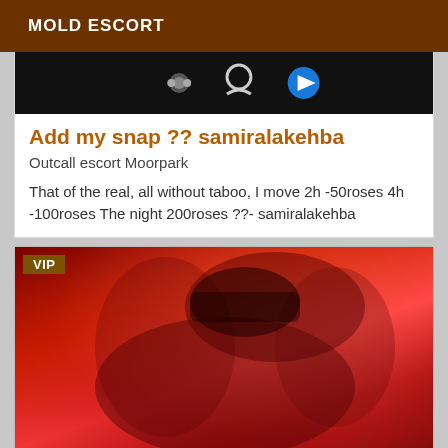MOLD ESCORT
[Figure (screenshot): Dark background with social media icons (dots, circle, play button)]
Add my snap ?? samiralakehba
Outcall escort Moorpark
That of the real, all without taboo, I move 2h -50roses 4h -100roses The night 200roses ??- samiralakehba
[Figure (photo): Red-tinted photo with VIP badge in top left corner]